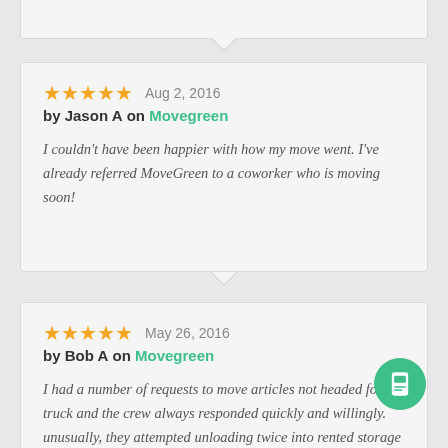I couldn't have been happier with how my move went. I've already referred MoveGreen to a coworker who is moving soon!
by Jason A on Movegreen  Aug 2, 2016
by Bob A on Movegreen  May 26, 2016
I had a number of requests to move articles not headed for the truck and the crew always responded quickly and willingly. unusually, they attempted unloading twice into rented storage space that proved unable to accept two very unusually large, very